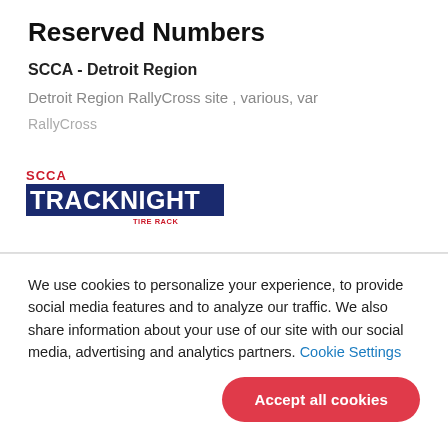Reserved Numbers
SCCA - Detroit Region
Detroit Region RallyCross site , various, var
RallyCross
[Figure (logo): SCCA Track Night in America Driven by Tire Rack logo]
We use cookies to personalize your experience, to provide social media features and to analyze our traffic. We also share information about your use of our site with our social media, advertising and analytics partners. Cookie Settings
Accept all cookies